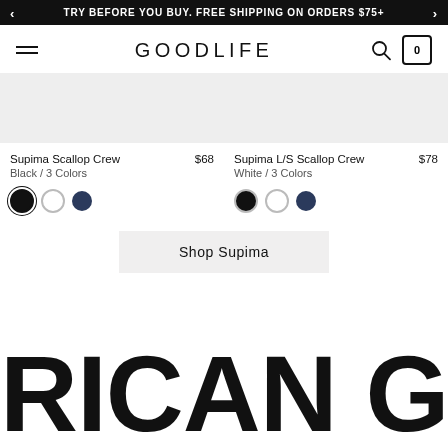TRY BEFORE YOU BUY. FREE SHIPPING ON ORDERS $75+
[Figure (screenshot): GOODLIFE logo with hamburger menu, search icon, and bag icon with 0 count]
[Figure (photo): Product image placeholder for Supima Scallop Crew]
Supima Scallop Crew $68
Black / 3 Colors
[Figure (photo): Product image placeholder for Supima L/S Scallop Crew]
Supima L/S Scallop Crew $78
White / 3 Colors
Shop Supima
RICAN GROWN